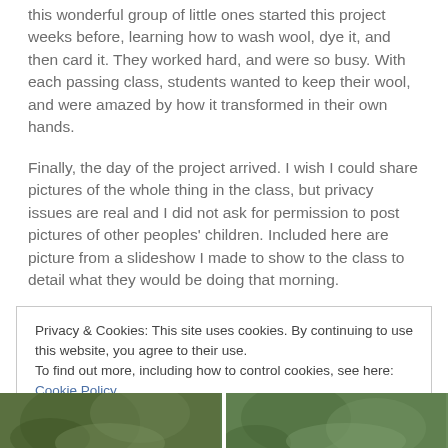this wonderful group of little ones started this project weeks before, learning how to wash wool, dye it, and then card it. They worked hard, and were so busy. With each passing class, students wanted to keep their wool, and were amazed by how it transformed in their own hands.
Finally, the day of the project arrived. I wish I could share pictures of the whole thing in the class, but privacy issues are real and I did not ask for permission to post pictures of other peoples' children. Included here are picture from a slideshow I made to show to the class to detail what they would be doing that morning.
Privacy & Cookies: This site uses cookies. By continuing to use this website, you agree to their use.
To find out more, including how to control cookies, see here: Cookie Policy
[Figure (photo): Two side-by-side photos at the bottom of the page, partially visible, showing green/nature imagery]